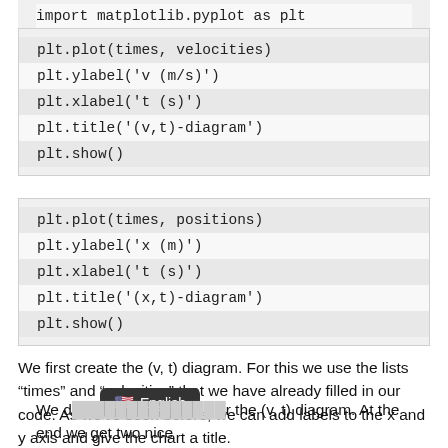import matplotlib.pyplot as plt
plt.plot(times, velocities)
plt.ylabel('v (m/s)')
plt.xlabel('t (s)')
plt.title('(v,t)-diagram')
plt.show()
plt.plot(times, positions)
plt.ylabel('x (m)')
plt.xlabel('t (s)')
plt.title('(x,t)-diagram')
plt.show()
We first create the (v, t) diagram. For this we use the lists “times” and “velocities” that we have already filled in our code. As we’ve seen before, we can add labels to the x and y axis and give the chart a title.
We d… r the (v, t) diagram. At the end we get two nice